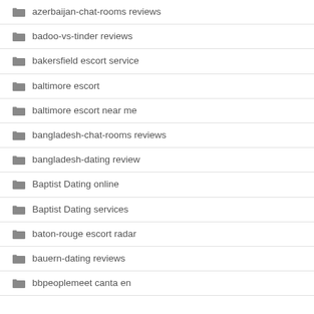azerbaijan-chat-rooms reviews
badoo-vs-tinder reviews
bakersfield escort service
baltimore escort
baltimore escort near me
bangladesh-chat-rooms reviews
bangladesh-dating review
Baptist Dating online
Baptist Dating services
baton-rouge escort radar
bauern-dating reviews
bbpeoplemeet canta en